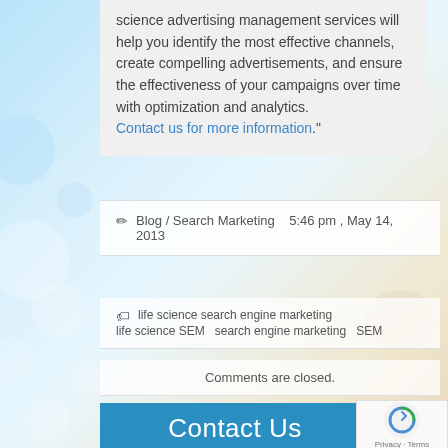science advertising management services will help you identify the most effective channels, create compelling advertisements, and ensure the effectiveness of your campaigns over time with optimization and analytics. Contact us for more information."
Blog / Search Marketing  5:46 pm , May 14, 2013
life science search engine marketing   life science SEM   search engine marketing   SEM
Comments are closed.
Contact Us